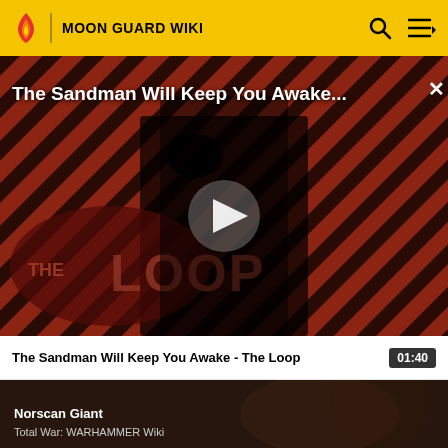MOON GUARD WIKI
[Figure (screenshot): Video thumbnail for 'The Sandman Will Keep You Awake - The Loop' showing a dark figure in black with a crow, against a red and black diagonal striped background with 'THE LOOP' text overlay and a play button in the center]
The Sandman Will Keep You Awake - The Loop	01:40
[Figure (screenshot): Partial thumbnail of next video showing 'Norscan Giant' from Total War: WARHAMMER Wiki with a dark fantasy figure in background]